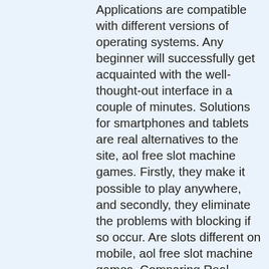Applications are compatible with different versions of operating systems. Any beginner will successfully get acquainted with the well-thought-out interface in a couple of minutes. Solutions for smartphones and tablets are real alternatives to the site, aol free slot machine games. Firstly, they make it possible to play anywhere, and secondly, they eliminate the problems with blocking if so occur. Are slots different on mobile, aol free slot machine games. Comparing Real Casino Apps, ymca of greater toronto youth gambling awareness program. Falsehood: online poker is illegal. Truth: playing online poker is not a violation of any federal laws. Online poker in the. Online poker is not currently legal in connecticut. So, these are really online poker games for real money. Isn't that illegal? could the players face legal trouble? could the organizer face legal trouble? The second law is the unlawful internet gambling enforcement act (uigea).